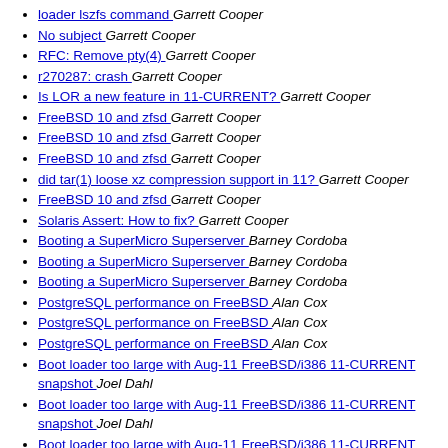loader lszfs command  Garrett Cooper
No subject  Garrett Cooper
RFC: Remove pty(4)  Garrett Cooper
r270287: crash  Garrett Cooper
Is LOR a new feature in 11-CURRENT?  Garrett Cooper
FreeBSD 10 and zfsd  Garrett Cooper
FreeBSD 10 and zfsd  Garrett Cooper
FreeBSD 10 and zfsd  Garrett Cooper
did tar(1) loose xz compression support in 11?  Garrett Cooper
FreeBSD 10 and zfsd  Garrett Cooper
Solaris Assert: How to fix?  Garrett Cooper
Booting a SuperMicro Superserver  Barney Cordoba
Booting a SuperMicro Superserver  Barney Cordoba
Booting a SuperMicro Superserver  Barney Cordoba
PostgreSQL performance on FreeBSD  Alan Cox
PostgreSQL performance on FreeBSD  Alan Cox
PostgreSQL performance on FreeBSD  Alan Cox
Boot loader too large with Aug-11 FreeBSD/i386 11-CURRENT snapshot  Joel Dahl
Boot loader too large with Aug-11 FreeBSD/i386 11-CURRENT snapshot  Joel Dahl
Boot loader too large with Aug-11 FreeBSD/i386 11-CURRENT snapshot  Joel Dahl
[patch] USB after second suspend/resume on ThinkPads.